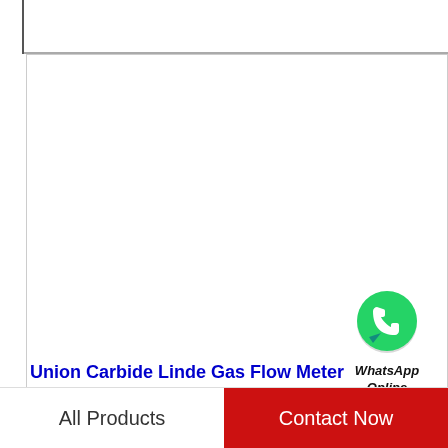[Figure (logo): WhatsApp green circle icon with white phone handset, labeled 'WhatsApp Online' in bold italic text below]
Union Carbide Linde Gas Flow Meter
All Products    Contact Now